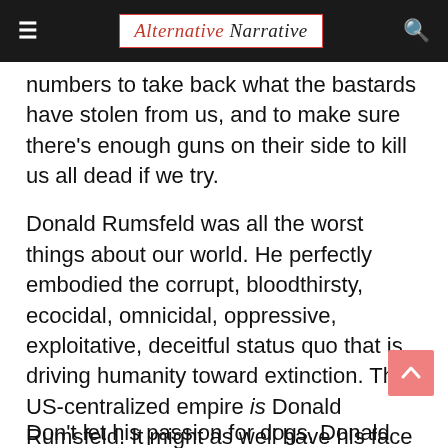Alternative Narrative
numbers to take back what the bastards have stolen from us, and to make sure there's enough guns on their side to kill us all dead if we try.
Donald Rumsfeld was all the worst things about our world. He perfectly embodied the corrupt, bloodthirsty, ecocidal, omnicidal, oppressive, exploitative, deceitful status quo that is driving humanity toward extinction. The US-centralized empire is Donald Rumsfeld. It might as well have his face and his name.
Don't let his passion for dogs, Donald...